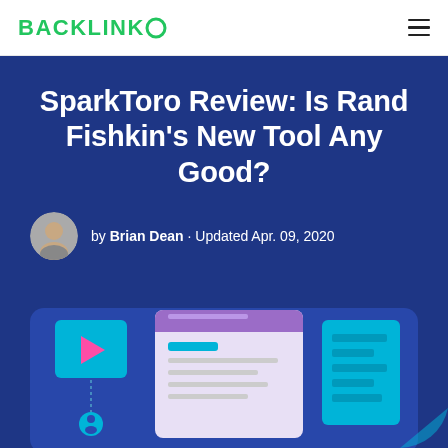BACKLINKO
SparkToro Review: Is Rand Fishkin's New Tool Any Good?
by Brian Dean · Updated Apr. 09, 2020
[Figure (illustration): Illustration of a digital interface with a video play button, browser/app mockup screens, and UI panels on a dark blue background]